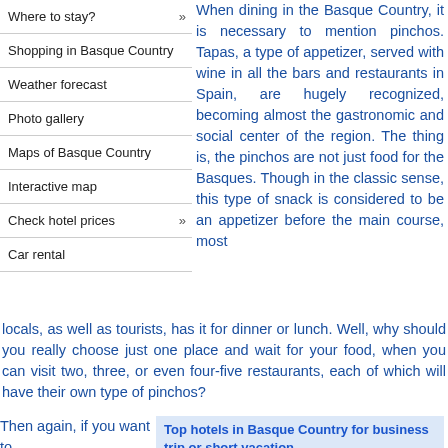Where to stay?
Shopping in Basque Country
Weather forecast
Photo gallery
Maps of Basque Country
Interactive map
Check hotel prices
Car rental
When dining in the Basque Country, it is necessary to mention pinchos. Tapas, a type of appetizer, served with wine in all the bars and restaurants in Spain, are hugely recognized, becoming almost the gastronomic and social center of the region. The thing is, the pinchos are not just food for the Basques. Though in the classic sense, this type of snack is considered to be an appetizer before the main course, most locals, as well as tourists, has it for dinner or lunch. Well, why should you really choose just one place and wait for your food, when you can visit two, three, or even four-five restaurants, each of which will have their own type of pinchos?
Then again, if you want to
Top hotels in Basque Country for business trip or short vacation